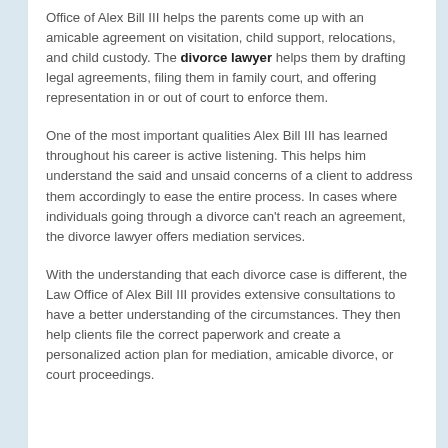Office of Alex Bill III helps the parents come up with an amicable agreement on visitation, child support, relocations, and child custody. The divorce lawyer helps them by drafting legal agreements, filing them in family court, and offering representation in or out of court to enforce them.
One of the most important qualities Alex Bill III has learned throughout his career is active listening. This helps him understand the said and unsaid concerns of a client to address them accordingly to ease the entire process. In cases where individuals going through a divorce can't reach an agreement, the divorce lawyer offers mediation services.
With the understanding that each divorce case is different, the Law Office of Alex Bill III provides extensive consultations to have a better understanding of the circumstances. They then help clients file the correct paperwork and create a personalized action plan for mediation, amicable divorce, or court proceedings.